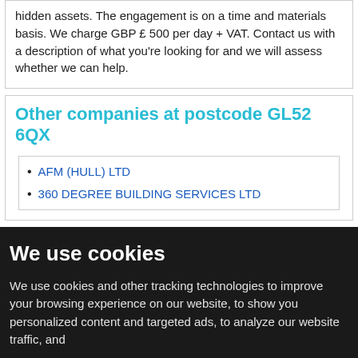hidden assets. The engagement is on a time and materials basis. We charge GBP £ 500 per day + VAT. Contact us with a description of what you're looking for and we will assess whether we can help.
Other companies at postcode GL52 6QX
AFM (HULL) LTD
360 DEGREE BUILDING SERVICES LTD
We use cookies
We use cookies and other tracking technologies to improve your browsing experience on our website, to show you personalized content and targeted ads, to analyze our website traffic, and